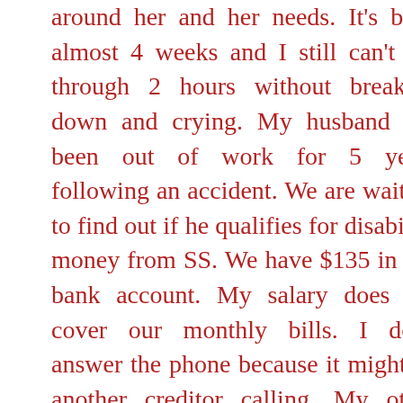around her and her needs. It's been almost 4 weeks and I still can't get through 2 hours without breaking down and crying. My husband has been out of work for 5 years following an accident. We are waiting to find out if he qualifies for disability money from SS. We have $135 in our bank account. My salary does not cover our monthly bills. I don't answer the phone because it might be another creditor calling. My other sister has been out of work for 4 years and has not